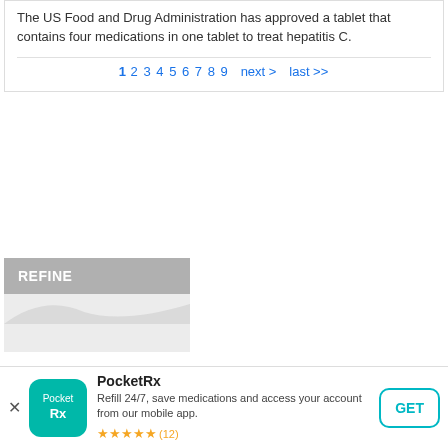The US Food and Drug Administration has approved a tablet that contains four medications in one tablet to treat hepatitis C.
1 2 3 4 5 6 7 8 9  next >  last >>
[Figure (screenshot): REFINE sidebar widget with gray header and light gray body section]
[Figure (screenshot): PocketRx app banner ad: teal app icon, title PocketRx, description 'Refill 24/7, save medications and access your account from our mobile app.', 5 gold stars, (12) reviews, GET button]